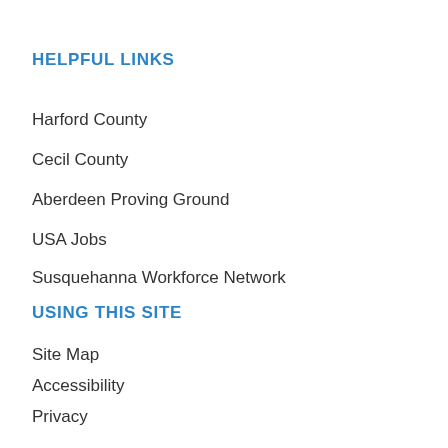HELPFUL LINKS
Harford County
Cecil County
Aberdeen Proving Ground
USA Jobs
Susquehanna Workforce Network
USING THIS SITE
Site Map
Accessibility
Privacy
Copyright Notices
Government Websites by CivicPlus™